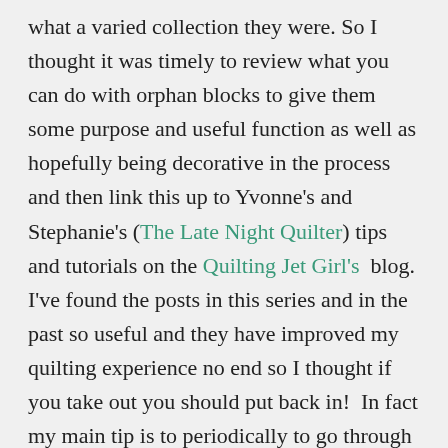what a varied collection they were.  So I thought it was timely to review what you can do with orphan blocks to give them some purpose and useful function as well as hopefully being decorative in the process and then link this up to Yvonne's and Stephanie's (The Late Night Quilter) tips and tutorials on the Quilting Jet Girl's  blog. I've found the posts in this series and in the past so useful and they have improved my quilting experience no end so I thought if you take out you should put back in!  In fact my main tip is to periodically to go through any leftover projects, large or small. I was really very pleasantly surprised when I went through my drawers of shame to find amongst some decidedly ugly ones some real gems that really do deserve being used or projects that were once put away and forgotten in the excitement of a new project but in fact are lovely and really deserve to be put back on the list. But let me